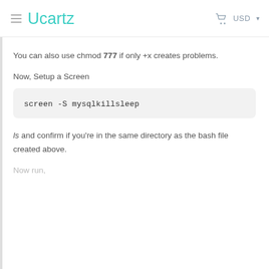Ucartz  USD
You can also use chmod 777 if only +x creates problems.
Now, Setup a Screen
screen -S mysqlkillsleep
ls and confirm if you're in the same directory as the bash file created above.
Now run,